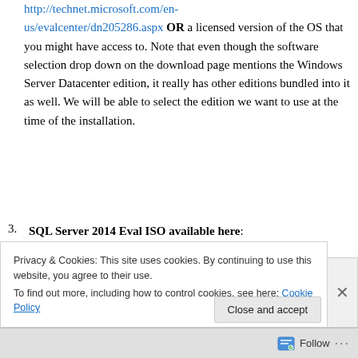http://technet.microsoft.com/en-us/evalcenter/dn205286.aspx OR a licensed version of the OS that you might have access to. Note that even though the software selection drop down on the download page mentions the Windows Server Datacenter edition, it really has other editions bundled into it as well. We will be able to select the edition we want to use at the time of the installation.
SQL Server 2014 Eval ISO available here: http://technet.microsoft.com/en-
Privacy & Cookies: This site uses cookies. By continuing to use this website, you agree to their use. To find out more, including how to control cookies, see here: Cookie Policy
Follow